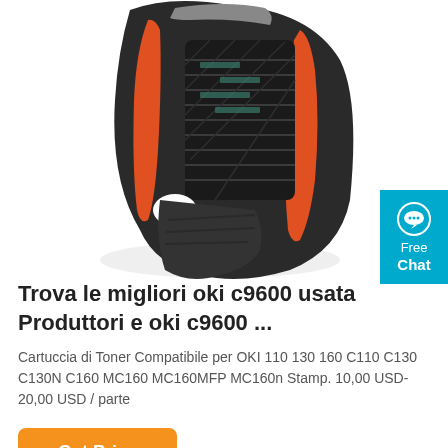[Figure (photo): Close-up photo of a black handheld device (scanner or similar tool) with orange accent trim and a small logo sticker, on white background]
Trova le migliori oki c9600 usata Produttori e oki c9600 ...
Cartuccia di Toner Compatibile per OKI 110 130 160 C110 C130 C130N C160 MC160 MC160MFP MC160n Stamp. 10,00 USD-20,00 USD / parte
Get Price